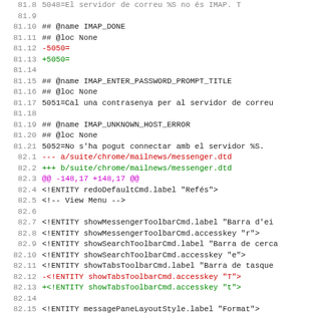Code diff view showing localization file changes for suite/chrome/mailnews
81.9  (blank)
81.10   ## @name IMAP_DONE
81.11   ## @loc None
81.12  -5050=
81.13  +5050=
81.14  (blank)
81.15   ## @name IMAP_ENTER_PASSWORD_PROMPT_TITLE
81.16   ## @loc None
81.17   5051=Cal una contrasenya per al servidor de correu
81.18  (blank)
81.19   ## @name IMAP_UNKNOWN_HOST_ERROR
81.20   ## @loc None
81.21   5052=No s'ha pogut connectar amb el servidor %S.
82.1  --- a/suite/chrome/mailnews/messenger.dtd
82.2  +++ b/suite/chrome/mailnews/messenger.dtd
82.3  @@ -148,17 +148,17 @@
82.4   <!ENTITY redoDefaultCmd.label "Refés">
82.5   <!-- View Menu -->
82.6  (blank)
82.7   <!ENTITY showMessengerToolbarCmd.label "Barra d'ei
82.8   <!ENTITY showMessengerToolbarCmd.accesskey "r">
82.9   <!ENTITY showSearchToolbarCmd.label "Barra de cerca
82.10  <!ENTITY showSearchToolbarCmd.accesskey "e">
82.11  <!ENTITY showTabsToolbarCmd.label "Barra de tasque
82.12 -<!ENTITY showTabsToolbarCmd.accesskey "T">
82.13 +<!ENTITY showTabsToolbarCmd.accesskey "t">
82.14  (blank)
82.15  <!ENTITY messagePaneLayoutStyle.label "Format">
82.16  <!ENTITY messagePaneLayoutStyle.accesskey "F">
82.17  <!ENTITY messagePaneClassic.label "Aspecte clàssic
82.18  <!ENTITY messagePaneClassic.accesskey "c">
82.19  <!ENTITY messagePaneWide.label "Aspecte horitzonta